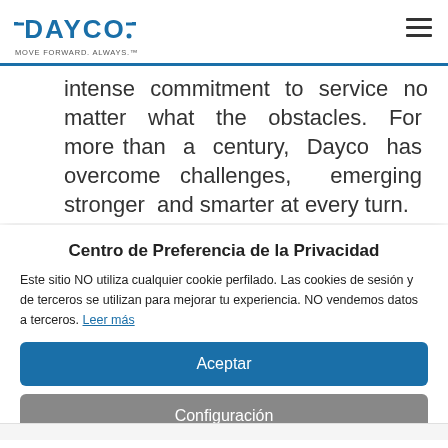[Figure (logo): Dayco logo with tagline MOVE FORWARD. ALWAYS.]
intense commitment to service no matter what the obstacles. For more than a century, Dayco has overcome challenges, emerging stronger and smarter at every turn.
Centro de Preferencia de la Privacidad
Este sitio NO utiliza cualquier cookie perfilado. Las cookies de sesión y de terceros se utilizan para mejorar tu experiencia. NO vendemos datos a terceros. Leer más
Aceptar
Configuración
Rechazar